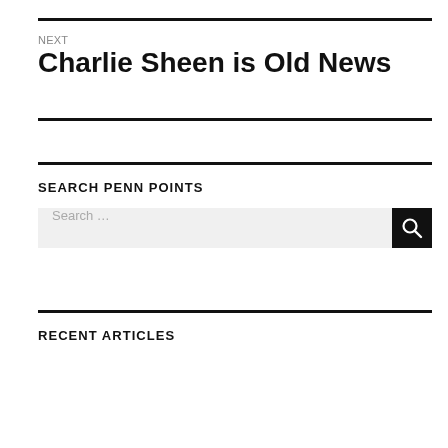NEXT
Charlie Sheen is Old News
SEARCH PENN POINTS
Search …
RECENT ARTICLES